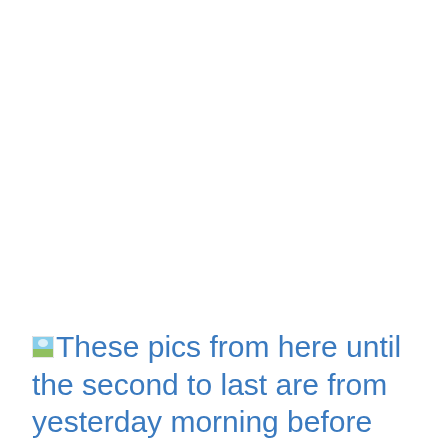These pics from here until the second to last are from yesterday morning before work.